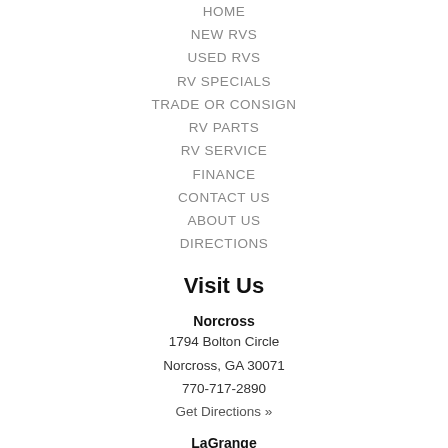HOME
NEW RVS
USED RVS
RV SPECIALS
TRADE OR CONSIGN
RV PARTS
RV SERVICE
FINANCE
CONTACT US
ABOUT US
DIRECTIONS
Visit Us
Norcross
1794 Bolton Circle
Norcross, GA 30071
770-717-2890
Get Directions »
LaGrange